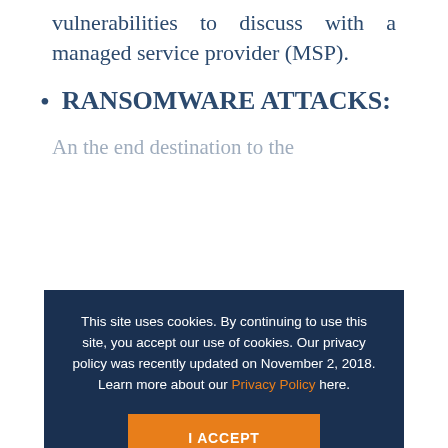vulnerabilities to discuss with a managed service provider (MSP).
RANSOMWARE ATTACKS:
to your organization's systems or data and hold that data until a ransom is paid by the organization. The results of these attacks are devastating. In
This site uses cookies. By continuing to use this site, you accept our use of cookies. Our privacy policy was recently updated on November 2, 2018. Learn more about our Privacy Policy here.
I ACCEPT